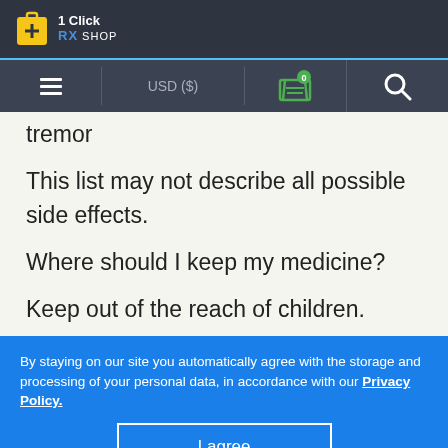1 Click RX SHOP
tremor
This list may not describe all possible side effects.
Where should I keep my medicine?
Keep out of the reach of children.
Store at room temperature below 30 degrees C (86 degrees F). Keep container tightly closed. Throw
By staying on our site you automatically agree with the storage and processing of your personal data, in accordance with our Privacy Policy.
I agree